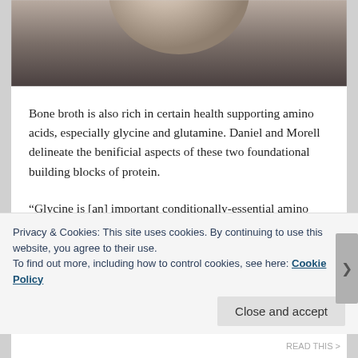[Figure (photo): Partial photo of a rounded food item (possibly a garlic bulb or onion) on a dark grey surface, cropped at top of page]
Bone broth is also rich in certain health supporting amino acids, especially glycine and glutamine. Daniel and Morell delineate the benificial aspects of these two foundational building blocks of protein.
“Glycine is [an] important conditionally-essential amino acid found abundantly in broth. It is the simplest of all the amino acids, and serves as the basic module for the manufacture of other amino acids. Researchers consider it to be conditionally essential because of its vital role in
Privacy & Cookies: This site uses cookies. By continuing to use this website, you agree to their use.
To find out more, including how to control cookies, see here: Cookie Policy
Close and accept